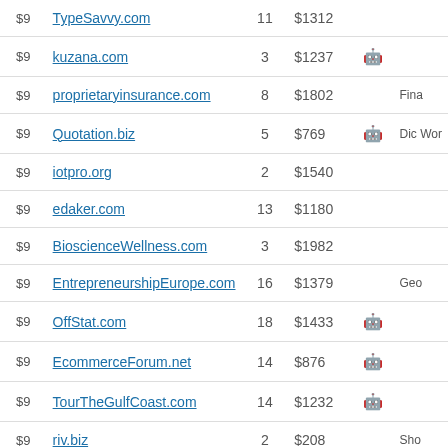| Price | Domain | Num | Value | Icon | Note |
| --- | --- | --- | --- | --- | --- |
| $9 | TypeSavvy.com | 11 | $1312 |  |  |
| $9 | kuzana.com | 3 | $1237 | 🤖 |  |
| $9 | proprietaryinsurance.com | 8 | $1802 |  | Fina |
| $9 | Quotation.biz | 5 | $769 | 🤖 | Dic Wor |
| $9 | iotpro.org | 2 | $1540 |  |  |
| $9 | edaker.com | 13 | $1180 |  |  |
| $9 | BioscienceWellness.com | 3 | $1982 |  |  |
| $9 | EntrepreneurshipEurope.com | 16 | $1379 |  | Geo |
| $9 | OffStat.com | 18 | $1433 | 🤖 |  |
| $9 | EcommerceForum.net | 14 | $876 | 🤖 |  |
| $9 | TourTheGulfCoast.com | 14 | $1232 | 🤖 |  |
| $9 | riv.biz | 2 | $208 |  | Sho |